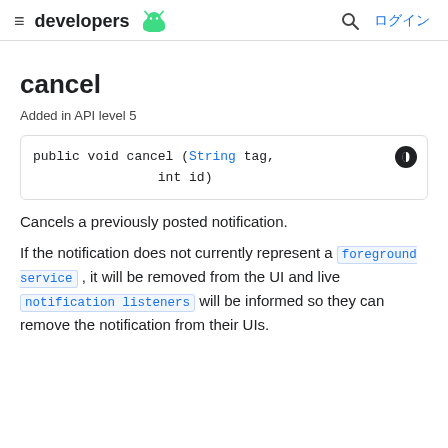developers  ログイン
cancel
Added in API level 5
Cancels a previously posted notification.
If the notification does not currently represent a foreground service , it will be removed from the UI and live notification listeners will be informed so they can remove the notification from their UIs.